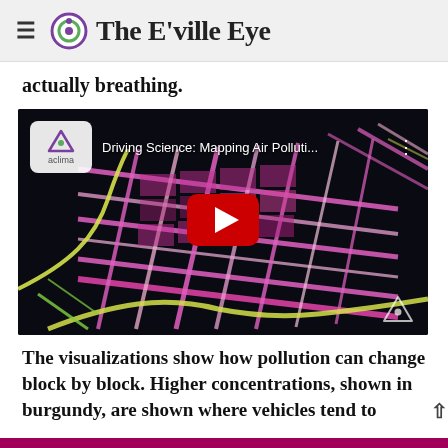The E'ville Eye
actually breathing.
[Figure (screenshot): YouTube video embed thumbnail: aerial 3D city map visualization with colorful pollution data overlays in pink, yellow and green on dark background. Video title: 'Driving Science: Mapping Air Polluti...' with Aclima logo badge. Large red YouTube play button in center.]
The visualizations show how pollution can change block by block. Higher concentrations, shown in burgundy, are shown where vehicles tend to